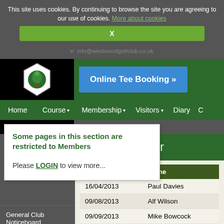This site uses cookies. By continuing to browse the site you are agreeing to our use of cookies. More about cookies
X
e: info@westwoodgolfclub.co.uk
[Figure (logo): Westwood Golf Club shield logo with green tree on white background]
Online Tee Booking »
Home
Course ▾
Membership ▾
Visitors ▾
Diary
/WxG\
Some pages in this section are restricted to Members
Please LOGIN to view more...
General Club Noticeboard
Members Only Area 🔒
Mens ▾
Mens Welcome
Roll of Honour
| Date | Name |
| --- | --- |
| 16/04/2013 | Paul Davies |
| 09/08/2013 | Alf Wilson |
| 09/09/2013 | Mike Bowcock |
| 26/10/2013 | John Fowler |
| 30/11/2013 | Jeff Barratt |
| 29/03/2014 | Brian Moss |
|  | Goz Roddie |